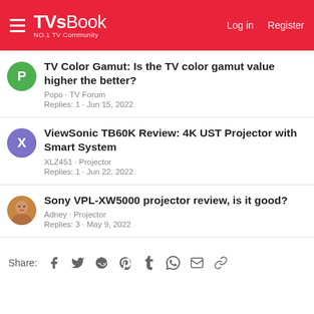TVsBook NO.1 TV Community — Log in | Register
TV Color Gamut: Is the TV color gamut value higher the better?
Popo · TV Forum
Replies: 1 · Jun 15, 2022
ViewSonic TB60K Review: 4K UST Projector with Smart System
XLZ451 · Projector
Replies: 1 · Jun 22, 2022
Sony VPL-XW5000 projector review, is it good?
Adney · Projector
Replies: 3 · May 9, 2022
Share: